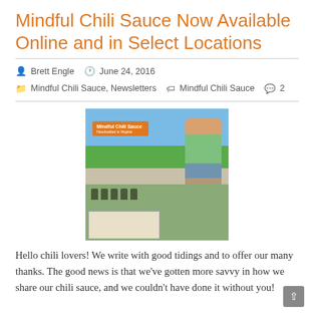Mindful Chili Sauce Now Available Online and in Select Locations
Brett Engle   June 24, 2016
Mindful Chili Sauce, Newsletters   Mindful Chili Sauce  2
[Figure (photo): A woman standing at a Mindful Chili Sauce booth at an outdoor market, with jars of sauce on the table and a banner sign.]
Hello chili lovers! We write with good tidings and to offer our many thanks. The good news is that we've gotten more savvy in how we share our chili sauce, and we couldn't have done it without you!